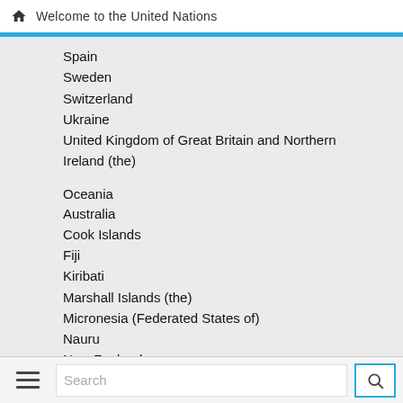Welcome to the United Nations
Spain
Sweden
Switzerland
Ukraine
United Kingdom of Great Britain and Northern Ireland (the)
Oceania
Australia
Cook Islands
Fiji
Kiribati
Marshall Islands (the)
Micronesia (Federated States of)
Nauru
New Zealand
Niue
Palau